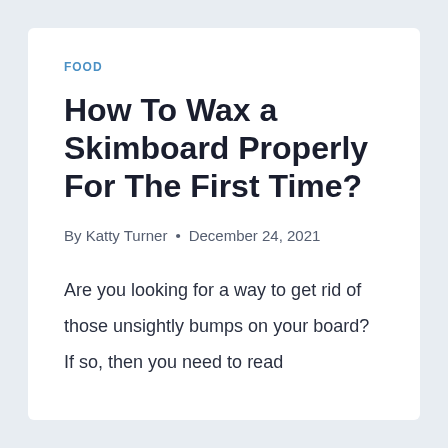FOOD
How To Wax a Skimboard Properly For The First Time?
By Katty Turner · December 24, 2021
Are you looking for a way to get rid of those unsightly bumps on your board? If so, then you need to read